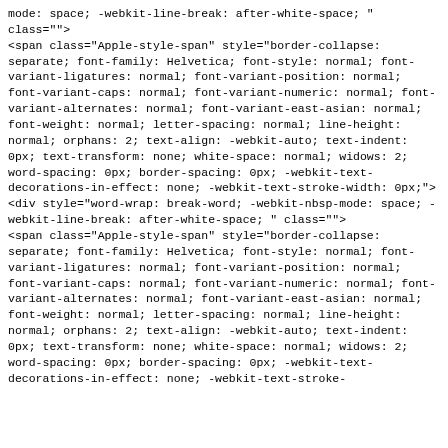mode: space; -webkit-line-break: after-white-space; " class="">
<span class="Apple-style-span" style="border-collapse: separate; font-family: Helvetica; font-style: normal; font-variant-ligatures: normal; font-variant-position: normal; font-variant-caps: normal; font-variant-numeric: normal; font-variant-alternates: normal; font-variant-east-asian: normal; font-weight: normal; letter-spacing: normal; line-height: normal; orphans: 2; text-align: -webkit-auto; text-indent: 0px; text-transform: none; white-space: normal; widows: 2; word-spacing: 0px; border-spacing: 0px; -webkit-text-decorations-in-effect: none; -webkit-text-stroke-width: 0px;">
<div style="word-wrap: break-word; -webkit-nbsp-mode: space; -webkit-line-break: after-white-space; " class="">
<span class="Apple-style-span" style="border-collapse: separate; font-family: Helvetica; font-style: normal; font-variant-ligatures: normal; font-variant-position: normal; font-variant-caps: normal; font-variant-numeric: normal; font-variant-alternates: normal; font-variant-east-asian: normal; font-weight: normal; letter-spacing: normal; line-height: normal; orphans: 2; text-align: -webkit-auto; text-indent: 0px; text-transform: none; white-space: normal; widows: 2; word-spacing: 0px; border-spacing: 0px; -webkit-text-decorations-in-effect: none; -webkit-text-stroke-